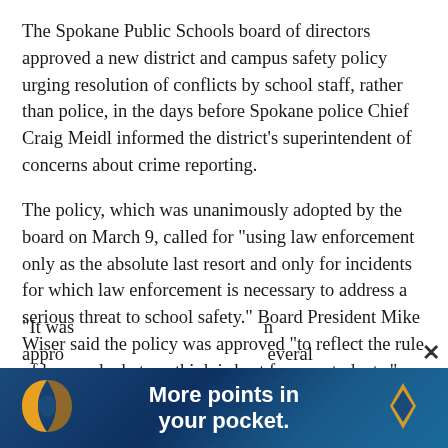The Spokane Public Schools board of directors approved a new district and campus safety policy urging resolution of conflicts by school staff, rather than police, in the days before Spokane police Chief Craig Meidl informed the district's superintendent of concerns about crime reporting.
The policy, which was unanimously adopted by the board on March 9, called for “using law enforcement only as the absolute last resort and only for incidents for which law enforcement is necessary to address a serious threat to school safety.” Board President Mike Wiser said the policy was approved “to reflect the rule of law, and what we think is best for our students.”
“It was… appro… [continues] …n …everal
[Figure (infographic): Advertisement banner: dark blue background with orange stylized logo elements on left and right sides. Bold white text reads 'More points in your pocket.' A close button (X) appears above the banner on the right.]